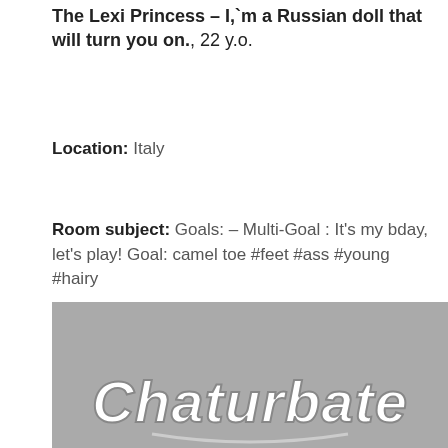The Lexi Princess – I,`m a Russian doll that will turn you on., 22 y.o.
Location: Italy
Room subject: Goals: – Multi-Goal : It's my bday, let's play! Goal: camel toe #feet #ass #young #hairy
Visit Me Today »
[Figure (logo): Chaturbate logo on grey background]